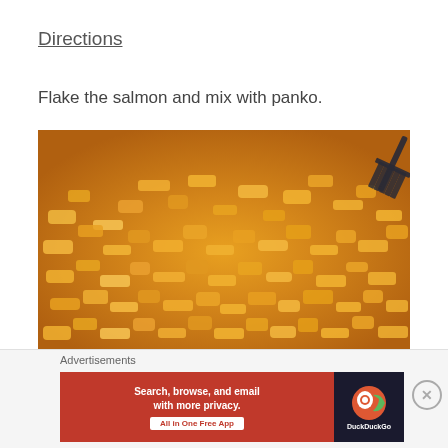Directions
Flake the salmon and mix with panko.
[Figure (photo): Close-up photo of flaked salmon mixed with panko breadcrumbs in a bowl, with a dark fork visible in the upper right corner.]
Advertisements
[Figure (screenshot): DuckDuckGo advertisement banner: red section with text 'Search, browse, and email with more privacy. All in One Free App', and dark section with DuckDuckGo logo and text 'DuckDuckGo'.]